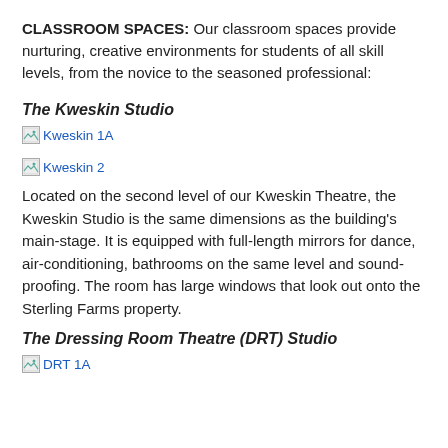CLASSROOM SPACES: Our classroom spaces provide nurturing, creative environments for students of all skill levels, from the novice to the seasoned professional:
The Kweskin Studio
[Figure (photo): Broken image placeholder labeled Kweskin 1A]
[Figure (photo): Broken image placeholder labeled Kweskin 2]
Located on the second level of our Kweskin Theatre, the Kweskin Studio is the same dimensions as the building's main-stage. It is equipped with full-length mirrors for dance, air-conditioning, bathrooms on the same level and sound-proofing. The room has large windows that look out onto the Sterling Farms property.
The Dressing Room Theatre (DRT) Studio
[Figure (photo): Broken image placeholder labeled DRT 1A]